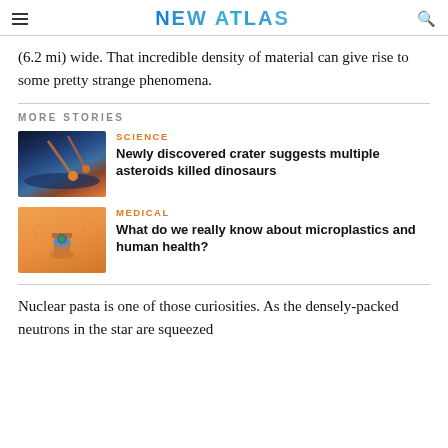NEW ATLAS
(6.2 mi) wide. That incredible density of material can give rise to some pretty strange phenomena.
MORE STORIES
[Figure (photo): Space scene showing asteroids or meteors streaking toward Earth with dramatic lighting]
SCIENCE
Newly discovered crater suggests multiple asteroids killed dinosaurs
[Figure (photo): Orange background with a spoon containing a small globe, surrounded by scattered particles representing microplastics]
MEDICAL
What do we really know about microplastics and human health?
Nuclear pasta is one of those curiosities. As the densely-packed neutrons in the star are squeezed